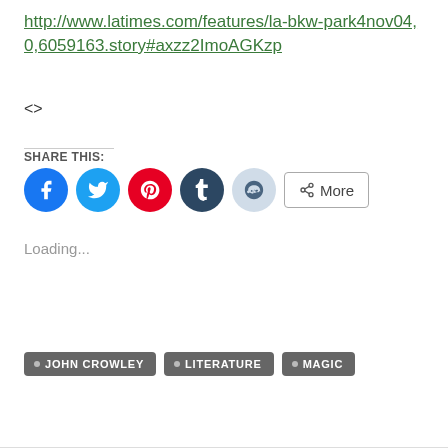http://www.latimes.com/features/la-bkw-park4nov04,0,6059163.story#axzz2ImoAGKzp
<>
SHARE THIS:
[Figure (infographic): Social share buttons: Facebook (blue circle), Twitter (light blue circle), Pinterest (red circle), Tumblr (dark blue circle), Reddit (light blue circle), and a More button with share icon]
Loading...
JOHN CROWLEY
LITERATURE
MAGIC